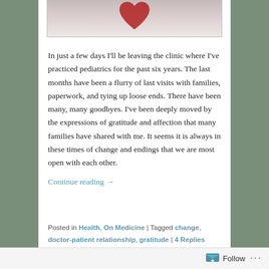[Figure (photo): Partial photo showing what appears to be a red heart shape on a light background, cropped at the top of the page]
In just a few days I'll be leaving the clinic where I've practiced pediatrics for the past six years. The last months have been a flurry of last visits with families, paperwork, and tying up loose ends. There have been many, many goodbyes. I've been deeply moved by the expressions of gratitude and affection that many families have shared with me. It seems it is always in these times of change and endings that we are most open with each other.
Continue reading →
Posted in Health, On Medicine | Tagged change, doctor-patient relationship, gratitude | 4 Replies
Copy and Paste Medicine
Posted on February 27, 2014